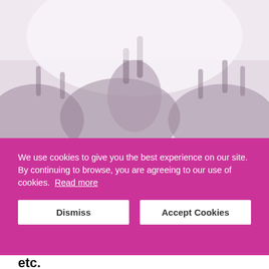[Figure (photo): Faded black and white crowd photo showing people with raised hands at what appears to be an outdoor event or concert]
We use cookies to give you the best experience on our site. By continuing to browse, you are agreeing to our use of cookies.  Read more
Dismiss
Accept Cookies
etc.